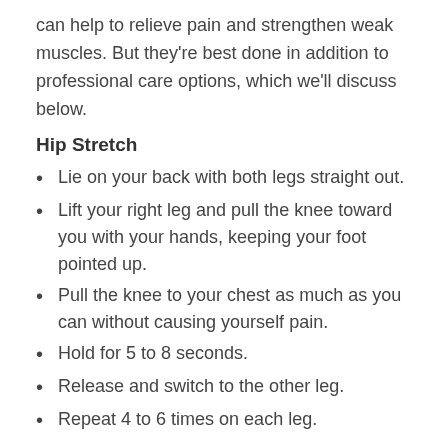can help to relieve pain and strengthen weak muscles. But they're best done in addition to professional care options, which we'll discuss below.
Hip Stretch
Lie on your back with both legs straight out.
Lift your right leg and pull the knee toward you with your hands, keeping your foot pointed up.
Pull the knee to your chest as much as you can without causing yourself pain.
Hold for 5 to 8 seconds.
Release and switch to the other leg.
Repeat 4 to 6 times on each leg.
Opposite Leg Split Stretch
Sit on the floor with your legs straight and as wide